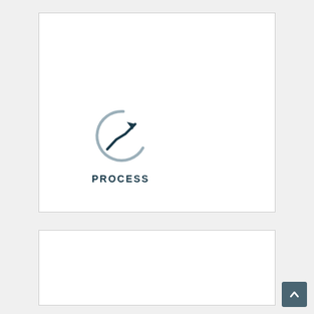[Figure (illustration): Icon of a circle with an upward trending line and arrow, representing process or growth]
PROCESS
[Figure (other): Scroll-to-top button with upward chevron arrow]